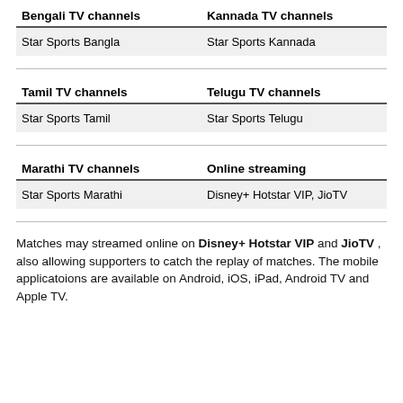| Bengali TV channels | Kannada TV channels |
| --- | --- |
| Star Sports Bangla | Star Sports Kannada |
| Tamil TV channels | Telugu TV channels |
| --- | --- |
| Star Sports Tamil | Star Sports Telugu |
| Marathi TV channels | Online streaming |
| --- | --- |
| Star Sports Marathi | Disney+ Hotstar VIP, JioTV |
Matches may streamed online on Disney+ Hotstar VIP and JioTV , also allowing supporters to catch the replay of matches. The mobile applicatoions are available on Android, iOS, iPad, Android TV and Apple TV.